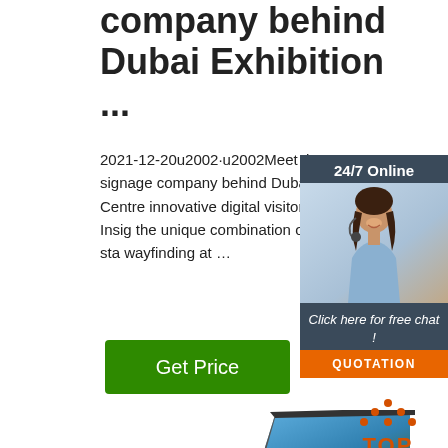company behind Dubai Exhibition ...
2021-12-20u2002·u2002Meet the UAE signage company behind Dubai Exhibition Centre innovative digital visitor experience. Insig the unique combination of digital and sta wayfinding at ...
[Figure (infographic): Green Get Price button]
[Figure (infographic): 24/7 Online chat widget with a woman wearing headset, 'Click here for free chat!' text, and an orange QUOTATION button]
[Figure (infographic): Tilted monitor/display screen showing a tropical background at the bottom of the page]
[Figure (logo): TOP logo with orange dots arranged in a triangle above the text TOP in orange]